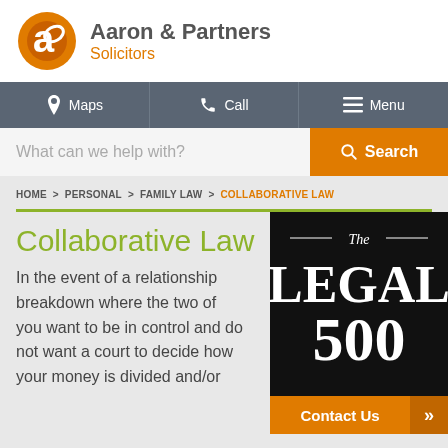[Figure (logo): Aaron & Partners Solicitors logo with orange circular 'a' icon]
Aaron & Partners Solicitors
Maps  Call  Menu
What can we help with?   Search
HOME > PERSONAL > FAMILY LAW > COLLABORATIVE LAW
Collaborative Law
In the event of a relationship breakdown where the two of you want to be in control and do not want a court to decide how your money is divided and/or
[Figure (logo): The Legal 500 badge on black background]
Contact Us